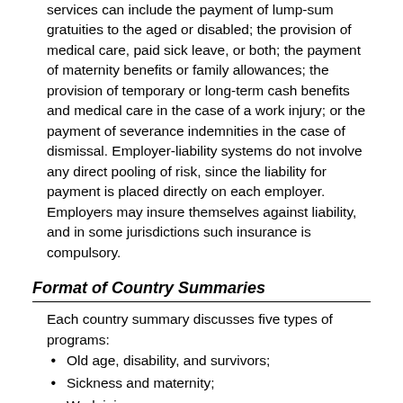services can include the payment of lump-sum gratuities to the aged or disabled; the provision of medical care, paid sick leave, or both; the payment of maternity benefits or family allowances; the provision of temporary or long-term cash benefits and medical care in the case of a work injury; or the payment of severance indemnities in the case of dismissal. Employer-liability systems do not involve any direct pooling of risk, since the liability for payment is placed directly on each employer. Employers may insure themselves against liability, and in some jurisdictions such insurance is compulsory.
Format of Country Summaries
Each country summary discusses five types of programs:
Old age, disability, and survivors;
Sickness and maternity;
Work injury;
Unemployment; and
Family allowances.
Old Age, Disability, and Survivors